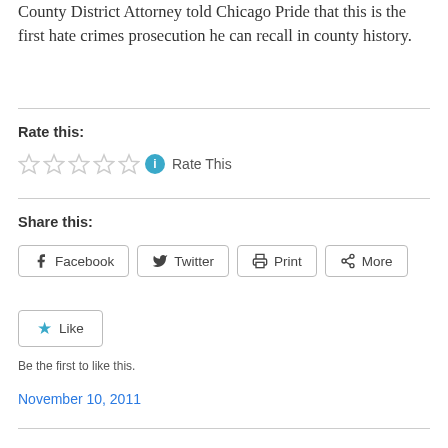County District Attorney told Chicago Pride that this is the first hate crimes prosecution he can recall in county history.
Rate this:
[Figure (other): Five empty star rating widgets followed by an info circle icon and 'Rate This' text]
Share this:
[Figure (other): Share buttons: Facebook, Twitter, Print, More]
[Figure (other): Like button with star icon]
Be the first to like this.
November 10, 2011